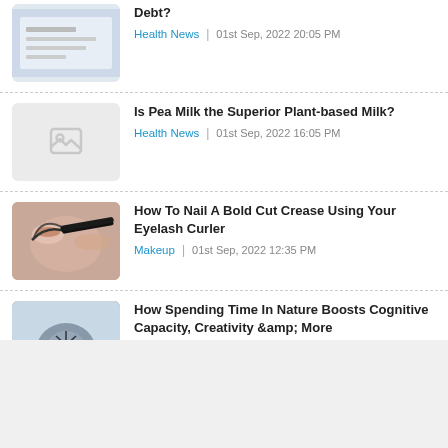Debt? | Health News | 01st Sep, 2022 20:05 PM
Is Pea Milk the Superior Plant-based Milk? | Health News | 01st Sep, 2022 16:05 PM
How To Nail A Bold Cut Crease Using Your Eyelash Curler | Makeup | 01st Sep, 2022 12:35 PM
How Spending Time In Nature Boosts Cognitive Capacity, Creativity &amp; More | Healthy Planet | 01st Sep, 2022 12:05 PM